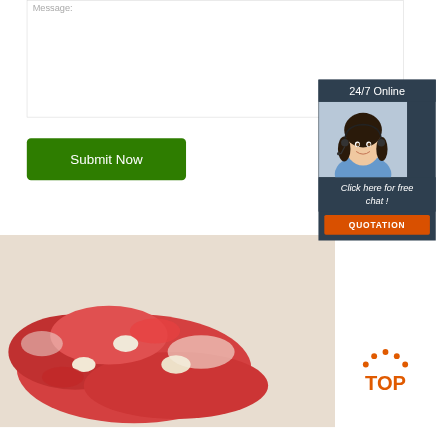Message:
[Figure (screenshot): Green Submit Now button]
[Figure (illustration): 24/7 Online chat widget with woman wearing headset, 'Click here for free chat!' text, and orange QUOTATION button]
[Figure (photo): Raw meat/bones photograph]
[Figure (illustration): TOP navigation icon with orange dots and text]